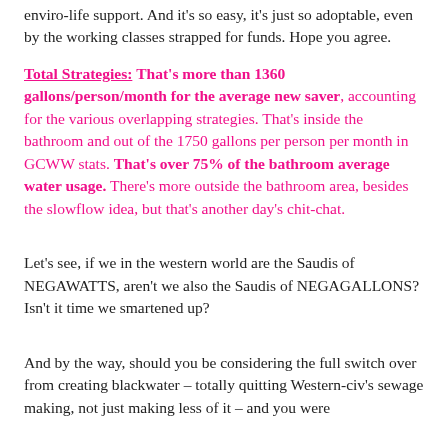enviro-life support. And it's so easy, it's just so adoptable, even by the working classes strapped for funds. Hope you agree.
Total Strategies: That's more than 1360 gallons/person/month for the average new saver, accounting for the various overlapping strategies. That's inside the bathroom and out of the 1750 gallons per person per month in GCWW stats. That's over 75% of the bathroom average water usage. There's more outside the bathroom area, besides the slowflow idea, but that's another day's chit-chat.
Let's see, if we in the western world are the Saudis of NEGAWATTS, aren't we also the Saudis of NEGAGALLONS? Isn't it time we smartened up?
And by the way, should you be considering the full switch over from creating blackwater – totally quitting Western-civ's sewage making, not just making less of it – and you were